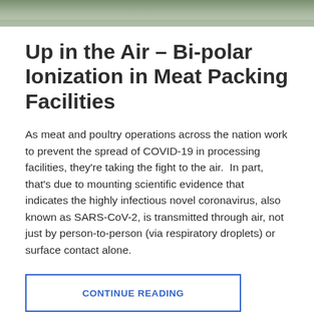[Figure (photo): Partially visible outdoor photo at top of page, showing a road or parking area with muted green/grey tones.]
Up in the Air – Bi-polar Ionization in Meat Packing Facilities
As meat and poultry operations across the nation work to prevent the spread of COVID-19 in processing facilities, they're taking the fight to the air.  In part, that's due to mounting scientific evidence that indicates the highly infectious novel coronavirus, also known as SARS-CoV-2, is transmitted through air, not just by person-to-person (via respiratory droplets) or surface contact alone.
CONTINUE READING